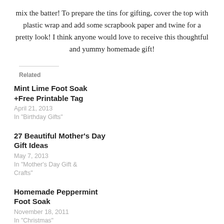mix the batter! To prepare the tins for gifting, cover the top with plastic wrap and add some scrapbook paper and twine for a pretty look! I think anyone would love to receive this thoughtful and yummy homemade gift!
Related
Mint Lime Foot Soak +Free Printable Tag
April 21, 2013
In "Birthday Gifts"
27 Beautiful Mother's Day Gift Ideas
May 7, 2013
In "Mother's Day Gift & Crafts"
Homemade Peppermint Foot Soak
November 18, 2011
In "Christmas"